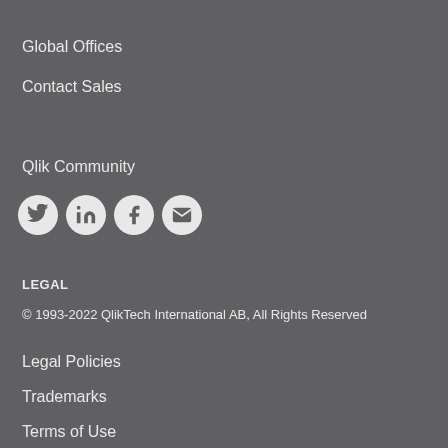Global Offices
Contact Sales
Qlik Community
[Figure (infographic): Four social media icons in circles: Twitter (bird), LinkedIn (in), Facebook (f), Email (envelope)]
LEGAL
© 1993-2022 QlikTech International AB, All Rights Reserved
Legal Policies
Trademarks
Terms of Use